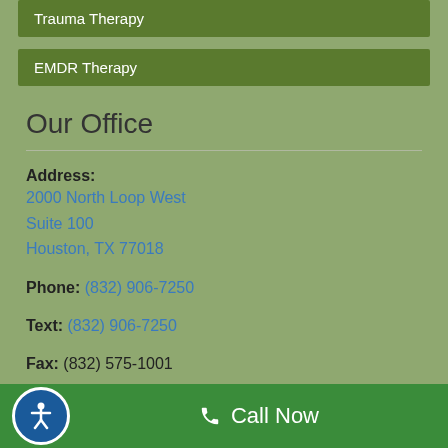Trauma Therapy
EMDR Therapy
Our Office
Address: 2000 North Loop West Suite 100 Houston, TX 77018
Phone: (832) 906-7250
Text: (832) 906-7250
Fax: (832) 575-1001
Call Now